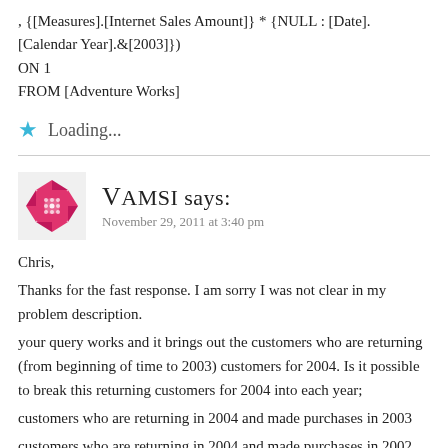, {[Measures].[Internet Sales Amount]} * {NULL : [Date].[Calendar Year].&[2003]})
ON 1
FROM [Adventure Works]
★ Loading...
VAMSI says:
November 29, 2011 at 3:40 pm
Chris,

Thanks for the fast response. I am sorry I was not clear in my problem description.

your query works and it brings out the customers who are returning (from beginning of time to 2003) customers for 2004. Is it possible to break this returning customers for 2004 into each year;

customers who are returning in 2004 and made purchases in 2003

customers who are returning in 2004 and made purchases in 2002

customers who are returning in 2004 and made purchases